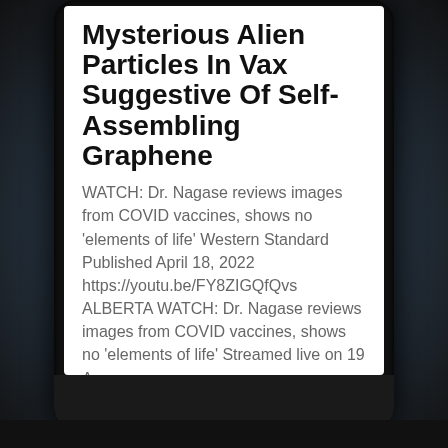Mysterious Alien Particles In Vax Suggestive Of Self-Assembling Graphene
WATCH: Dr. Nagase reviews images from COVID vaccines, shows no 'elements of life' Western Standard Published April 18, 2022 https://youtu.be/FY8ZIGQfQvs ALBERTA WATCH: Dr. Nagase reviews images from COVID vaccines, shows no 'elements of life' Streamed live on 19 Apr...
read more